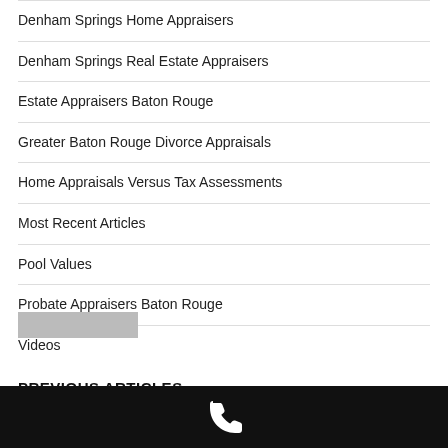Denham Springs Home Appraisers
Denham Springs Real Estate Appraisers
Estate Appraisers Baton Rouge
Greater Baton Rouge Divorce Appraisals
Home Appraisals Versus Tax Assessments
Most Recent Articles
Pool Values
Probate Appraisers Baton Rouge
Videos
PREVIOUS ARTICLES
Phone icon bar